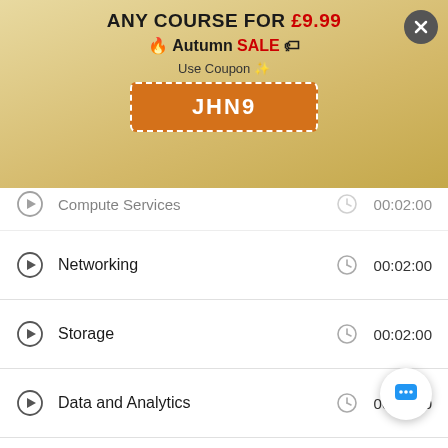[Figure (screenshot): Promotional banner: ANY COURSE FOR £9.99, Autumn SALE, Use Coupon JHN9 with close button]
Compute Services  00:02:00
Networking  00:02:00
Storage  00:02:00
Data and Analytics  00:02:00
Web and Mobile  00:03:00
Miscellaneous  00:02:00
Azure Deployment  00:06:00